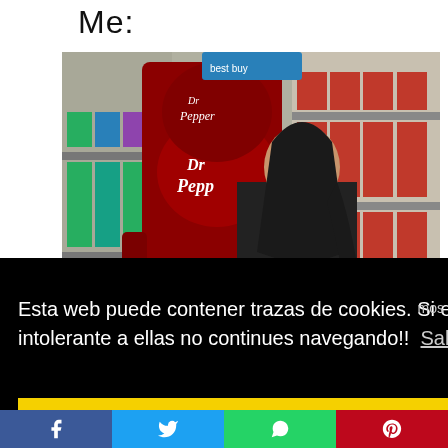Me:
[Figure (photo): A woman kissing/nuzzling a large red Dr Pepper mascot/display figure in a grocery store. Store shelves with Coke and other beverages visible in background. A 'Coke 3 for 10' sign visible.]
Esta web puede contener trazas de cookies. Si eres alérgico o intolerante a ellas no continues navegando!!  Saber Más
Cerrar
[Figure (infographic): Social media share buttons: Facebook (blue), Twitter (cyan/blue), WhatsApp (green), Pinterest (red)]